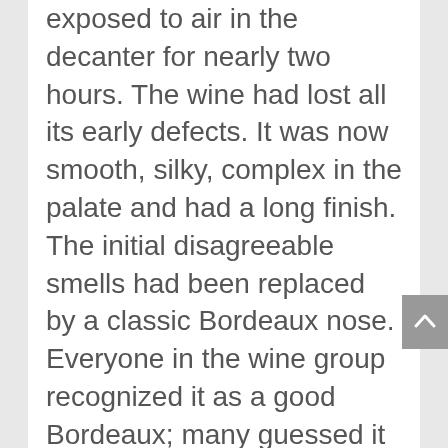exposed to air in the decanter for nearly two hours. The wine had lost all its early defects. It was now smooth, silky, complex in the palate and had a long finish. The initial disagreeable smells had been replaced by a classic Bordeaux nose. Everyone in the wine group recognized it as a good Bordeaux; many guessed it as much younger than what it actually was.
I then circulated the other half of the '81 d'Issan, the one sequestered in a sealed bottle. It was as tight and vegetative as my first impression, thought it had shed those early nasties in the nose.
Several fellow drinkers commented that